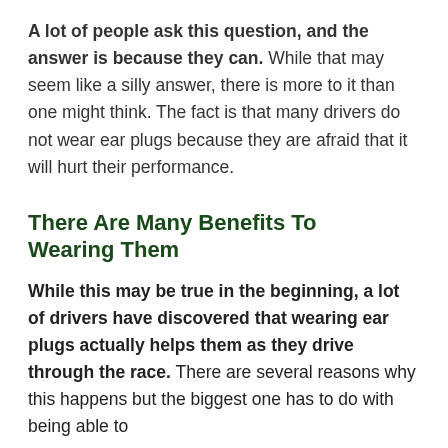A lot of people ask this question, and the answer is because they can. While that may seem like a silly answer, there is more to it than one might think. The fact is that many drivers do not wear ear plugs because they are afraid that it will hurt their performance.
There Are Many Benefits To Wearing Them
While this may be true in the beginning, a lot of drivers have discovered that wearing ear plugs actually helps them as they drive through the race. There are several reasons why this happens but the biggest one has to do with being able to